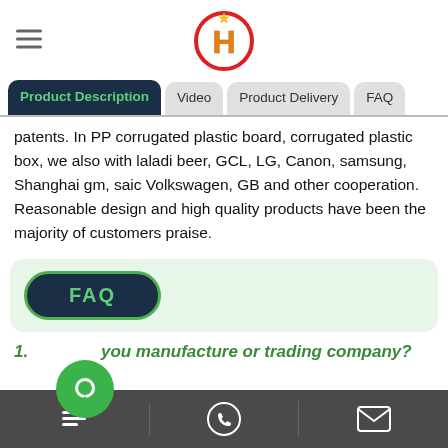Header with hamburger menu and H logo
Product Description | Video | Product Delivery | FAQ
patents. In PP corrugated plastic board, corrugated plastic box, we also with laladi beer, GCL, LG, Canon, samsung, Shanghai gm, saic Volkswagen, GB and other cooperation. Reasonable design and high quality products have been the majority of customers praise.
FAQ
1. Are you manufacture or trading company?
Bottom navigation bar with chat, phone, email icons